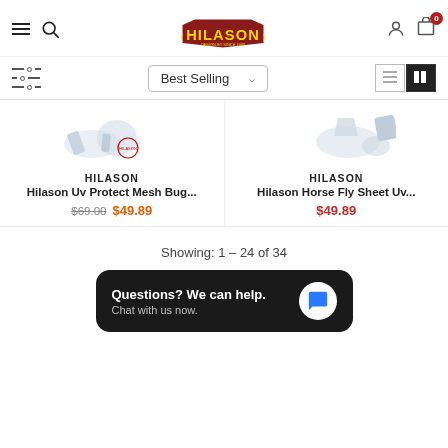[Figure (screenshot): Hilason website header with hamburger menu, search icon, logo, user icon, and cart icon with badge 0]
[Figure (screenshot): Toolbar with filter sliders icon, Best Selling sort dropdown, and list/grid view toggle]
[Figure (screenshot): Product image for Hilason Uv Protect Mesh Bug sheet]
HILASON
Hilason Uv Protect Mesh Bug...
$69.00 $49.89
[Figure (screenshot): Product image for Hilason Horse Fly Sheet Uv]
HILASON
Hilason Horse Fly Sheet Uv...
$49.89
Showing: 1 – 24 of 34
[Figure (screenshot): Chat widget: Questions? We can help. Chat with us now.]